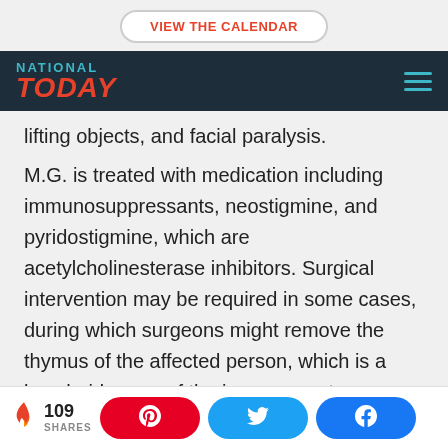VIEW THE CALENDAR
NATIONAL TODAY
lifting objects, and facial paralysis.
M.G. is treated with medication including immunosuppressants, neostigmine, and pyridostigmine, which are acetylcholinesterase inhibitors. Surgical intervention may be required in some cases, during which surgeons might remove the thymus of the affected person, which is a lymphoid organ of the immune system.
109 SHARES